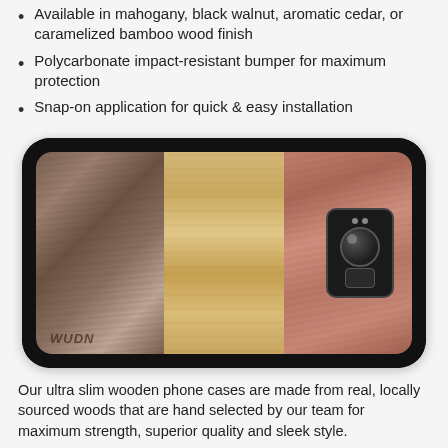Available in mahogany, black walnut, aromatic cedar, or caramelized bamboo wood finish
Polycarbonate impact-resistant bumper for maximum protection
Snap-on application for quick & easy installation
[Figure (photo): A Samsung Galaxy S8 phone case with wooden back panel showing three types of wood side by side: dark walnut on the left, light caramelized bamboo in the center, and reddish mahogany on the right, with a black polycarbonate bumper and camera module visible. WUDN logo in bottom left of wood panel.]
Our ultra slim wooden phone cases are made from real, locally sourced woods that are hand selected by our team for maximum strength, superior quality and sleek style.